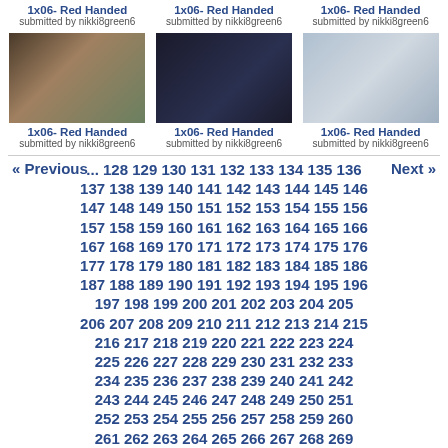1x06- Red Handed
submitted by nikki8green6
1x06- Red Handed
submitted by nikki8green6
1x06- Red Handed
submitted by nikki8green6
[Figure (photo): TV show screenshot - indoor scene with two people]
[Figure (photo): TV show screenshot - dark outdoor night scene]
[Figure (photo): TV show screenshot - outdoor scene with man in white shirt and tie]
1x06- Red Handed
submitted by nikki8green6
1x06- Red Handed
submitted by nikki8green6
1x06- Red Handed
submitted by nikki8green6
« Previous ... 128 129 130 131 132 133 134 135 136 Next » 137 138 139 140 141 142 143 144 145 146 147 148 149 150 151 152 153 154 155 156 157 158 159 160 161 162 163 164 165 166 167 168 169 170 171 172 173 174 175 176 177 178 179 180 181 182 183 184 185 186 187 188 189 190 191 192 193 194 195 196 197 198 199 200 201 202 203 204 205 206 207 208 209 210 211 212 213 214 215 216 217 218 219 220 221 222 223 224 225 226 227 228 229 230 231 232 233 234 235 236 237 238 239 240 241 242 243 244 245 246 247 248 249 250 251 252 253 254 255 256 257 258 259 260 261 262 263 264 265 266 267 268 269